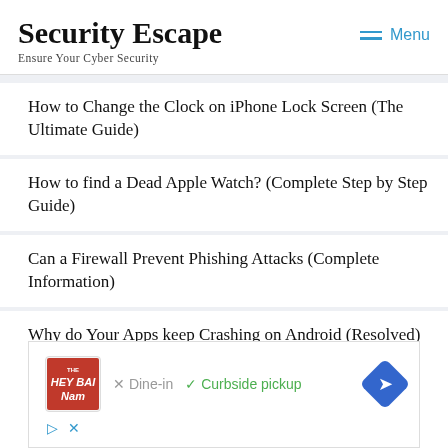Security Escape
Ensure Your Cyber Security
How to Change the Clock on iPhone Lock Screen (The Ultimate Guide)
How to find a Dead Apple Watch? (Complete Step by Step Guide)
Can a Firewall Prevent Phishing Attacks (Complete Information)
Why do Your Apps keep Crashing on Android (Resolved)
How to Set up Secure Payment on a Website (Complete Guide)
[Figure (other): Advertisement banner showing The Hey Bai Nam restaurant logo with icons for Dine-in (X) and Curbside pickup (checkmark) and a blue diamond navigation arrow]